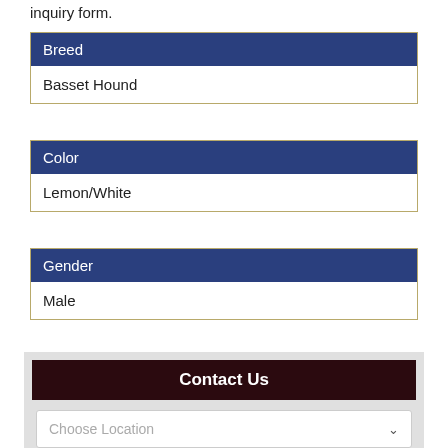inquiry form.
| Breed |
| --- |
| Basset Hound |
| Color |
| --- |
| Lemon/White |
| Gender |
| --- |
| Male |
Contact Us
Choose Location